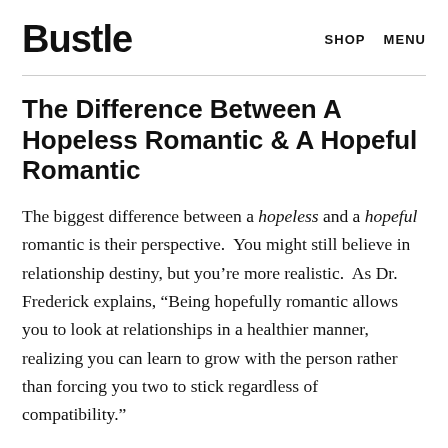Bustle   SHOP   MENU
The Difference Between A Hopeless Romantic & A Hopeful Romantic
The biggest difference between a hopeless and a hopeful romantic is their perspective. You might still believe in relationship destiny, but you're more realistic. As Dr. Frederick explains, “Being hopefully romantic allows you to look at relationships in a healthier manner, realizing you can learn to grow with the person rather than forcing you two to stick regardless of compatibility.”